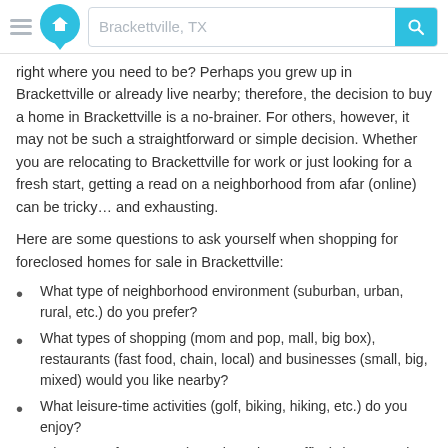Brackettville, TX — search bar header
right where you need to be? Perhaps you grew up in Brackettville or already live nearby; therefore, the decision to buy a home in Brackettville is a no-brainer. For others, however, it may not be such a straightforward or simple decision. Whether you are relocating to Brackettville for work or just looking for a fresh start, getting a read on a neighborhood from afar (online) can be tricky… and exhausting.
Here are some questions to ask yourself when shopping for foreclosed homes for sale in Brackettville:
What type of neighborhood environment (suburban, urban, rural, etc.) do you prefer?
What types of shopping (mom and pop, mall, big box), restaurants (fast food, chain, local) and businesses (small, big, mixed) would you like nearby?
What leisure-time activities (golf, biking, hiking, etc.) do you enjoy?
What type of commute (car, plane, home office) do you seek?